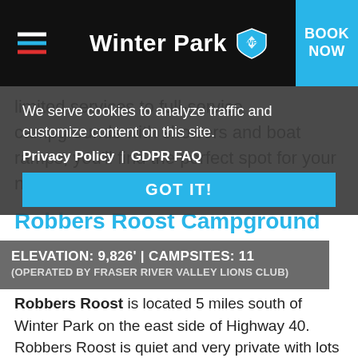Winter Park — BOOK NOW
limited services to full-service campgrounds with showers and boat ramps, you'll find the perfect spot for your next Grand County camping trip.
Robbers Roost Campground
ELEVATION: 9,826' | CAMPSITES: 11
(OPERATED BY FRASER RIVER VALLEY LIONS CLUB)
We serve cookies to analyze traffic and customize content on this site. Privacy Policy | GDPR FAQ GOT IT!
Robbers Roost is located 5 miles south of Winter Park on the east side of Highway 40. Robbers Roost is quiet and very private with lots of wildlife. There are 11 campsites on a first-come,